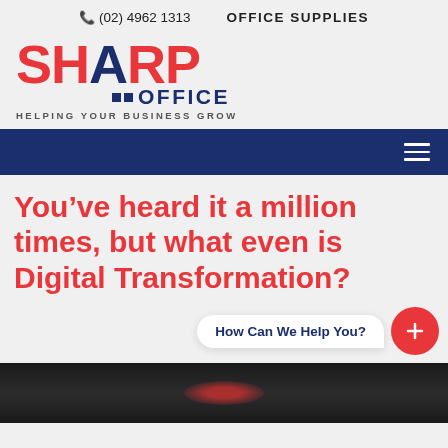(02) 4962 1313   OFFICE SUPPLIES
[Figure (logo): Sharp Office logo — SHARP in large bold red/navy text, OFFICE in navy with two small navy squares, tagline HELPING YOUR BUSINESS GROW]
Navigation bar with hamburger menu icon
You’ve heard it a million times, but what even is Digital Transformation?
How Can We Help You?
[Figure (photo): Dark close-up photo of office/printing equipment with a red light element visible]